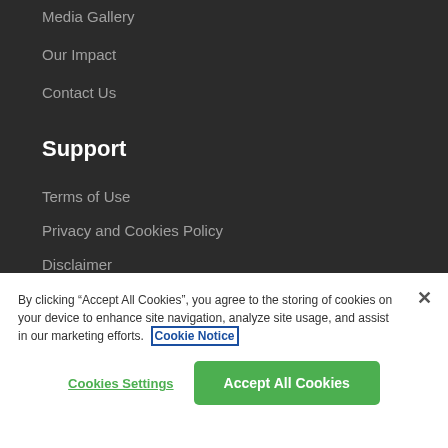Media Gallery
Our Impact
Contact Us
Support
Terms of Use
Privacy and Cookies Policy
Disclaimer
Find us elsewhere
By clicking “Accept All Cookies”, you agree to the storing of cookies on your device to enhance site navigation, analyze site usage, and assist in our marketing efforts. Cookie Notice
Cookies Settings
Accept All Cookies